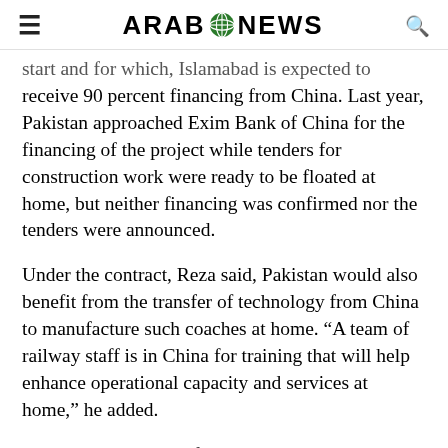ARAB NEWS
start and for which, Islamabad is expected to receive 90 percent financing from China. Last year, Pakistan approached Exim Bank of China for the financing of the project while tenders for construction work were ready to be floated at home, but neither financing was confirmed nor the tenders were announced.
Under the contract, Reza said, Pakistan would also benefit from the transfer of technology from China to manufacture such coaches at home. “A team of railway staff is in China for training that will help enhance operational capacity and services at home,” he added.
Earlier this month, Zafar Zaman Ranjha, the chairman of Pakistan Railways, said with the